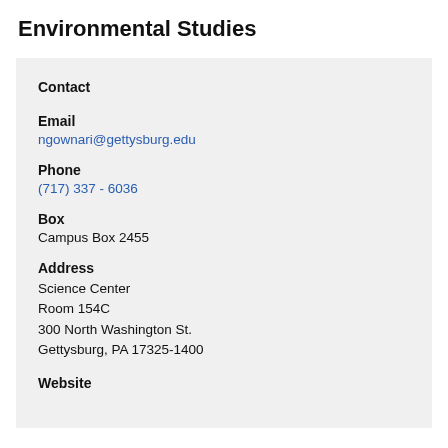Environmental Studies
Contact
Email
ngownari@gettysburg.edu
Phone
(717) 337 - 6036
Box
Campus Box 2455
Address
Science Center
Room 154C
300 North Washington St.
Gettysburg, PA 17325-1400
Website